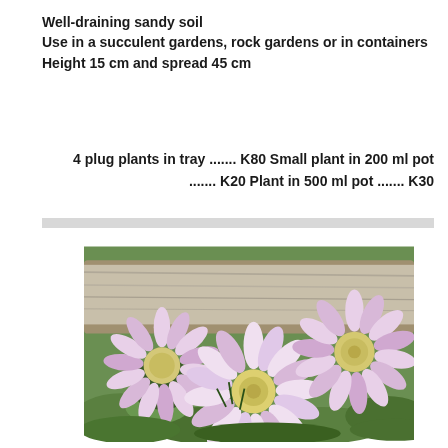Well-draining sandy soil
Use in a succulent gardens, rock gardens or in containers
Height 15 cm and spread 45 cm
4 plug plants in tray ....... K80 Small plant in 200 ml pot ....... K20 Plant in 500 ml pot ....... K30
[Figure (photo): Three large pale pink cactus flowers with white spiky petals and yellow-green centers, photographed against a weathered wooden background with green vegetation around them.]